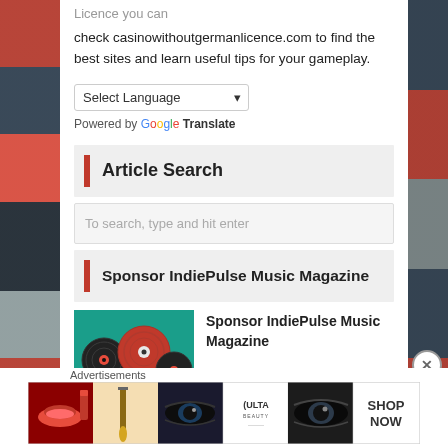Licence you can check casinowithoutgermanlicence.com to find the best sites and learn useful tips for your gameplay.
Select Language
Powered by Google Translate
Article Search
To search, type and hit enter
Sponsor IndiePulse Music Magazine
[Figure (photo): Colorful vinyl records illustration with music theme, teal and red colors]
Sponsor IndiePulse Music Magazine
Advertisements
[Figure (photo): Advertisement banner strip showing makeup/beauty products including lips, brush, eyes, ULTA Beauty logo, eyes close-up, and SHOP NOW text]